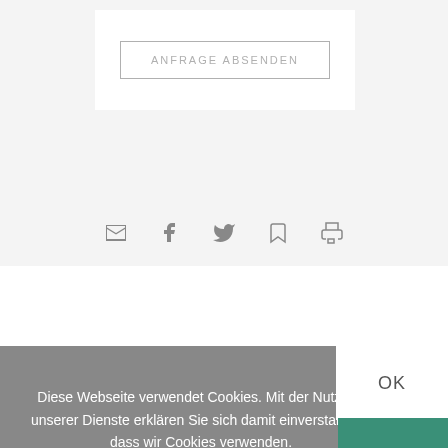[Figure (screenshot): A button labeled ANFRAGE ABSENDEN with a light gray border on a white background, placed within a light gray section]
[Figure (infographic): A row of five social sharing icons: email, Facebook, Twitter, bookmark, and print, in gray on a light gray background]
Diese Webseite verwendet Cookies. Mit der Nutzung unserer Dienste erklären Sie sich damit einverstanden, dass wir Cookies verwenden.
OK